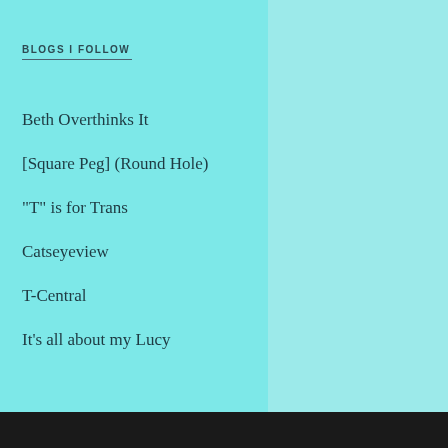BLOGS I FOLLOW
Beth Overthinks It
[Square Peg] (Round Hole)
"T" is for Trans
Catseyeview
T-Central
It's all about my Lucy